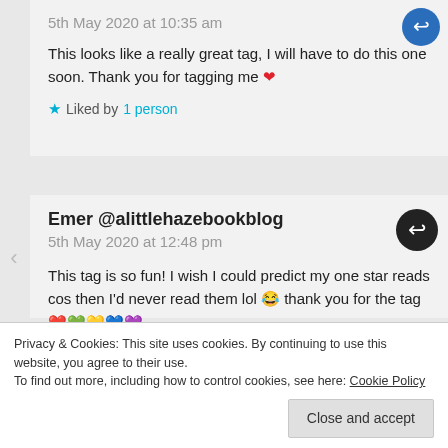5th May 2020 at 10:35 am
This looks like a really great tag, I will have to do this one soon. Thank you for tagging me ❤️
★ Liked by 1 person
Emer @alittlehazebookblog
5th May 2020 at 12:48 pm
This tag is so fun! I wish I could predict my one star reads cos then I'd never read them lol 😂 thank you for the tag ❤️💚💛💙💜
Privacy & Cookies: This site uses cookies. By continuing to use this website, you agree to their use.
To find out more, including how to control cookies, see here: Cookie Policy
Close and accept